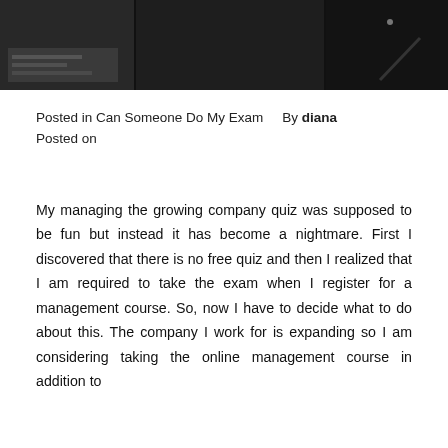[Figure (photo): Dark background photo showing what appears to be a dark room or office environment, split into three sections with varying dark tones]
Posted in Can Someone Do My Exam    By diana
Posted on
My managing the growing company quiz was supposed to be fun but instead it has become a nightmare. First I discovered that there is no free quiz and then I realized that I am required to take the exam when I register for a management course. So, now I have to decide what to do about this. The company I work for is expanding so I am considering taking the online management course in addition to